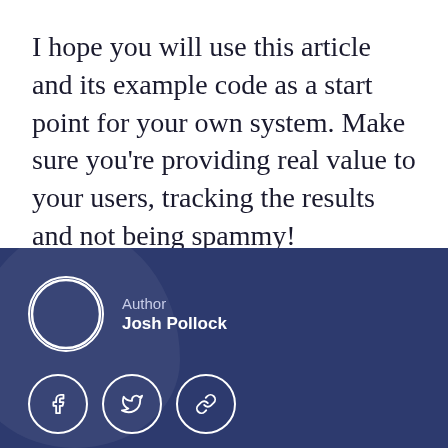I hope you will use this article and its example code as a start point for your own system. Make sure you're providing real value to your users, tracking the results and not being spammy!
[Figure (infographic): Author bio section with dark navy background, circular avatar placeholder, author label, author name Josh Pollock, and three social media icon buttons (Facebook, Twitter, link/chain)]